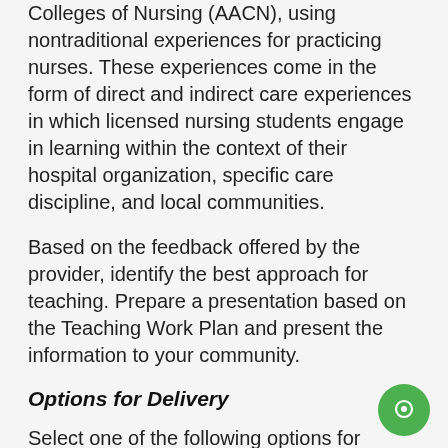Colleges of Nursing (AACN), using nontraditional experiences for practicing nurses. These experiences come in the form of direct and indirect care experiences in which licensed nursing students engage in learning within the context of their hospital organization, specific care discipline, and local communities.
Based on the feedback offered by the provider, identify the best approach for teaching. Prepare a presentation based on the Teaching Work Plan and present the information to your community.
Options for Delivery
Select one of the following options for delivery and prepare the applicable presentation:
1. PowerPoint presentation – no more than 30 minutes
2. Pamphlet presentation – 1 to 2 pages